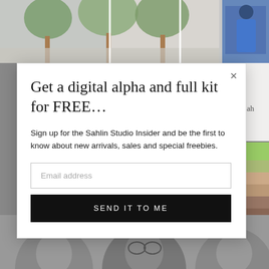[Figure (screenshot): Background images visible behind popup modal: top area shows outdoor photo with trees and a person in blue, right side shows colorful fabric/textile pattern, bottom shows black and white faces of people.]
Get a digital alpha and full kit for FREE…
Sign up for the Sahlin Studio Insider and be the first to know about new arrivals, sales and special freebies.
Email address
SEND IT TO ME